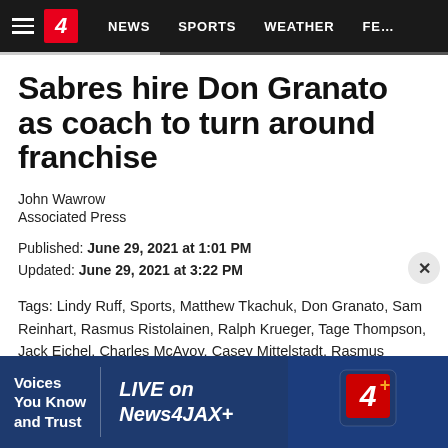≡  4  NEWS  SPORTS  WEATHER  FE…
Sabres hire Don Granato as coach to turn around franchise
John Wawrow
Associated Press
Published: June 29, 2021 at 1:01 PM
Updated: June 29, 2021 at 3:22 PM
Tags: Lindy Ruff, Sports, Matthew Tkachuk, Don Granato, Sam Reinhart, Rasmus Ristolainen, Ralph Krueger, Tage Thompson, Jack Eichel, Charles McAvoy, Casey Mittelstadt, Rasmus Dahlin, Rick Tocchet, Kevyn Adams, Auston Matthews
[Figure (screenshot): News4JAX advertisement banner: 'Voices You Know and Trust | LIVE on News4JAX+' with channel 4 logo]